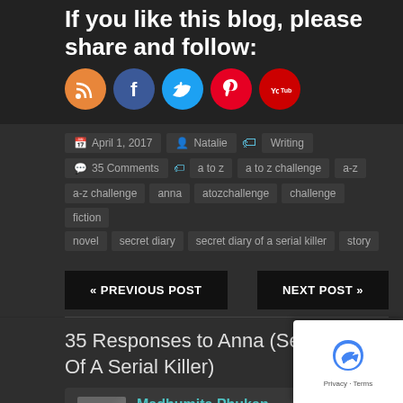If you like this blog, please share and follow:
[Figure (infographic): Five social media icons in circles: RSS (orange), Facebook (blue), Twitter (cyan), Pinterest (red), YouTube (red)]
April 1, 2017   Natalie   Writing
35 Comments   a to z   a to z challenge   a-z
a-z challenge   anna   atozchallenge   challenge   fiction
novel   secret diary   secret diary of a serial killer   story
« PREVIOUS POST   NEXT POST »
35 Responses to Anna (Secret Diary Of A Serial Killer)
Madhumita Phukan